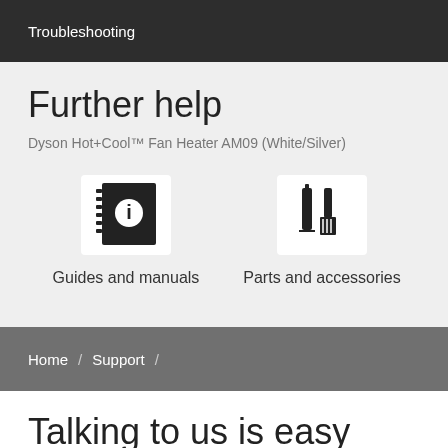Troubleshooting
Further help
Dyson Hot+Cool™ Fan Heater AM09 (White/Silver)
[Figure (illustration): Icon of a notebook/manual with an info symbol (i) on the cover]
Guides and manuals
[Figure (illustration): Icon of a candle/tool and a brush representing parts and accessories]
Parts and accessories
Home / Support /
Talking to us is easy